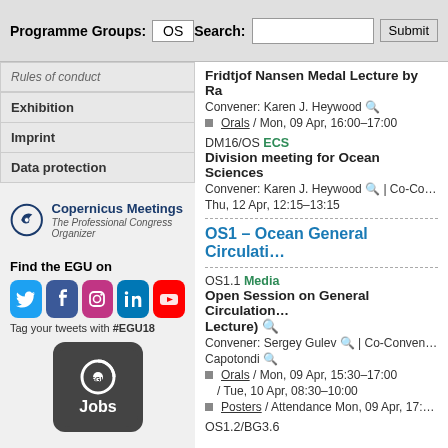Programme Groups: OS   Search:   Submit
Rules of conduct
Exhibition
Imprint
Data protection
[Figure (logo): Copernicus Meetings logo — The Professional Congress Organizer]
Find the EGU on
[Figure (infographic): Social media icons: Twitter, Facebook, Instagram, LinkedIn, YouTube]
Tag your tweets with #EGU18
[Figure (logo): EGU Jobs logo — dark rounded square with EGU and Jobs text]
Fridtjof Nansen Medal Lecture by Ra…
Convener: Karen J. Heywood
Orals / Mon, 09 Apr, 16:00–17:00
DM16/OS ECS Division meeting for Ocean Sciences…
Convener: Karen J. Heywood | Co-Co…
Thu, 12 Apr, 12:15–13:15
OS1 – Ocean General Circulati…
OS1.1 Media Open Session on General Circulation… Lecture)
Convener: Sergey Gulev | Co-Conven… Capotondi
Orals / Mon, 09 Apr, 15:30–17:00 / Tue, 10 Apr, 08:30–10:00
Posters / Attendance Mon, 09 Apr, 17:…
OS1.2/BG3.6